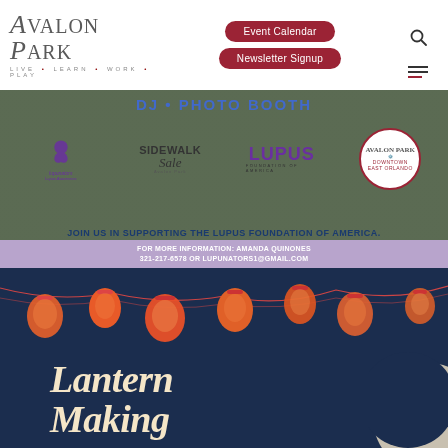[Figure (logo): Avalon Park logo with tagline LIVE · LEARN · WORK · PLAY]
[Figure (screenshot): Navigation buttons: Event Calendar and Newsletter Signup in dark red rounded buttons]
[Figure (infographic): Event banner showing DJ · PHOTO BOOTH text, logos for Lupunators Lupus Awareness, Sidewalk Sale Avalon Park, Lupus Foundation of America, Avalon Park Downtown East Orlando. Text: JOIN US IN SUPPORTING THE LUPUS FOUNDATION OF AMERICA.]
FOR MORE INFORMATION: AMANDA QUINONES
321-217-6578 OR LUPUNATORS1@GMAIL.COM
[Figure (infographic): Lantern Making event graphic with hanging orange paper lanterns against a dark navy night sky with a moon, cream-colored cursive title text 'Lantern Making']